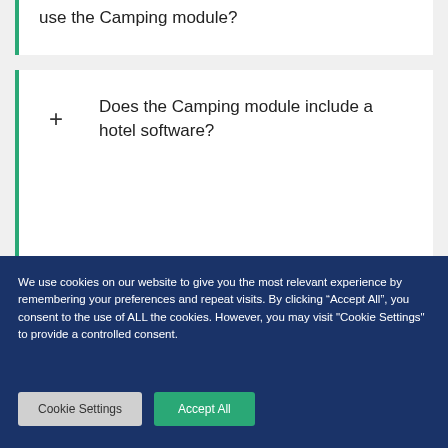use the Camping module?
+ Does the Camping module include a hotel software?
[Figure (logo): Facebook social media button icon with 'f' logo on dark blue-gray rounded rectangle]
We use cookies on our website to give you the most relevant experience by remembering your preferences and repeat visits. By clicking “Accept All”, you consent to the use of ALL the cookies. However, you may visit "Cookie Settings" to provide a controlled consent.
Cookie Settings   Accept All